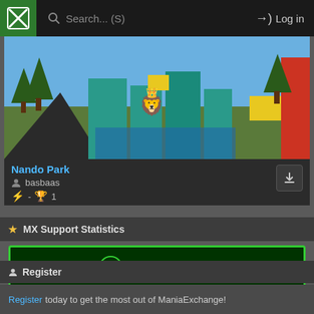Search... (S)  Log in
[Figure (screenshot): Game screenshot of Nando Park - a colorful 3D track with trees, ramps, and yellow/teal/red obstacles. A lion emoji avatar is visible in the center.]
Nando Park
basbaas
⚡ - 🏆 1
★ MX Support Statistics
[Figure (infographic): MX Support statistics box with green border on dark green background. Shows: CUR. DAYS: 0, SUPPORTED DAYS: 720, GIFTED DAYS: 0]
Register
Register today to get the most out of ManiaExchange!